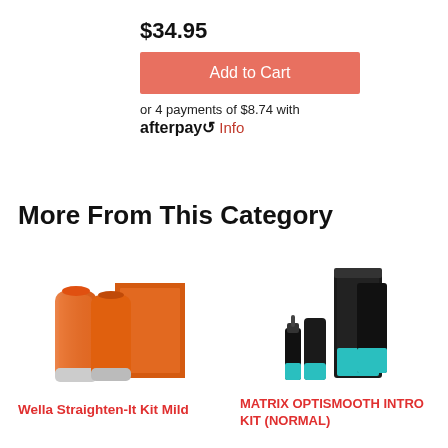$34.95
Add to Cart
or 4 payments of $8.74 with
afterpay Info
More From This Category
[Figure (photo): Wella Straighten-It Kit Mild product image - two orange tubes with orange box]
[Figure (photo): Matrix OptiSmooth Intro Kit (Normal) product image - dark bottles and tubes with teal accents]
Wella Straighten-It Kit Mild
MATRIX OPTISMOOTH INTRO KIT (NORMAL)